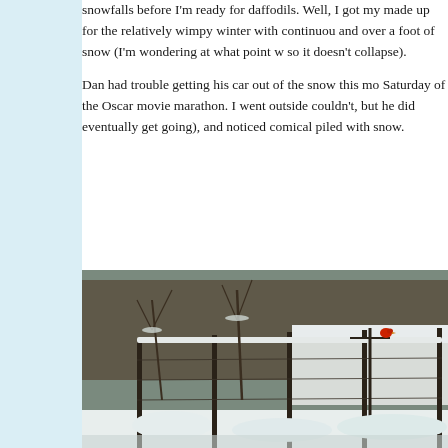snowfalls before I'm ready for daffodils. Well, I got my made up for the relatively wimpy winter with continuou and over a foot of snow (I'm wondering at what point w so it doesn't collapse).
Dan had trouble getting his car out of the snow this mo Saturday of the Oscar movie marathon. I went outside couldn't, but he did eventually get going), and noticed comical piled with snow.
[Figure (photo): Outdoor winter scene showing a snow-covered backyard with a chain-link fence, bare trees with snow, a white house/shed roof in the background, and a red cardinal bird perched on a fence post or bird feeder pole.]